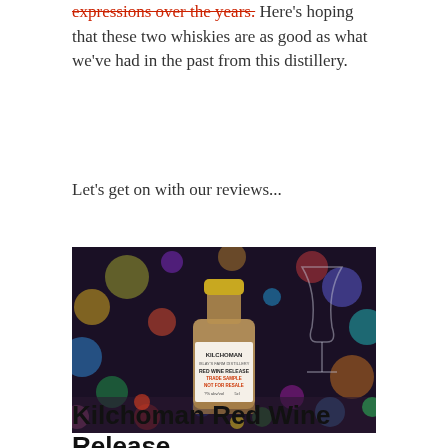expressions over the years. Here's hoping that these two whiskies are as good as what we've had in the past from this distillery.
Let's get on with our reviews...
[Figure (photo): A small Kilchoman miniature bottle labeled 'KILCHOMAN RED WINE RELEASE TRADE SAMPLE NOT FOR RESALE' with colourful bokeh lights in the background.]
Kilchoman Red Wine Release